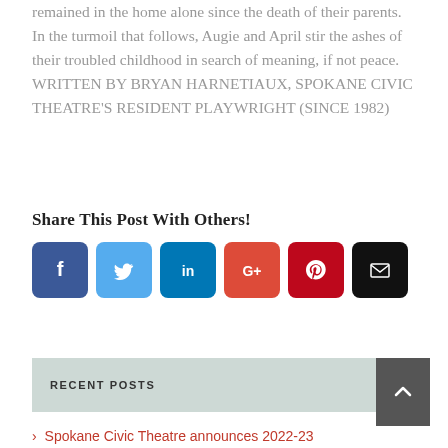remained in the home alone since the death of their parents. In the turmoil that follows, Augie and April stir the ashes of their troubled childhood in search of meaning, if not peace. WRITTEN BY BRYAN HARNETIAUX, SPOKANE CIVIC THEATRE'S RESIDENT PLAYWRIGHT (SINCE 1982)
Share This Post With Others!
[Figure (infographic): Six social media sharing icons: Facebook (blue), Twitter (light blue), LinkedIn (dark blue), Google+ (red-orange), Pinterest (dark red), Email (black)]
RECENT POSTS
> Spokane Civic Theatre announces 2022-23